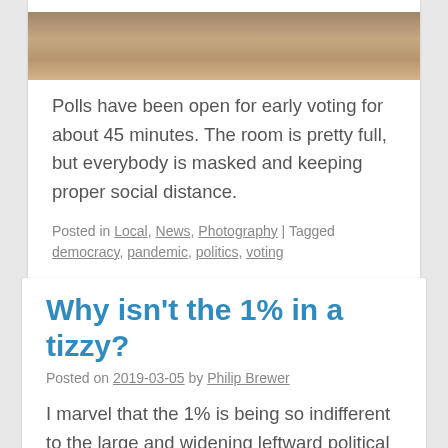[Figure (photo): Partial photo of people in a room, showing lower bodies/legs on a wooden floor, with one person carrying a bag.]
Polls have been open for early voting for about 45 minutes. The room is pretty full, but everybody is masked and keeping proper social distance.
Posted in Local, News, Photography | Tagged democracy, pandemic, politics, voting
Why isn't the 1% in a tizzy?
Posted on 2019-03-05 by Philip Brewer
I marvel that the 1% is being so indifferent to the large and widening leftward political shift in the U.S. and elsewhere. It seems to me they should have already